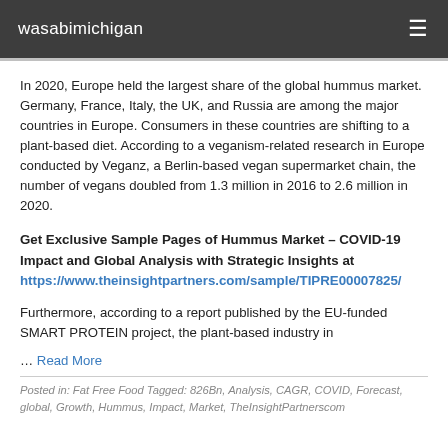wasabimichigan
In 2020, Europe held the largest share of the global hummus market. Germany, France, Italy, the UK, and Russia are among the major countries in Europe. Consumers in these countries are shifting to a plant-based diet. According to a veganism-related research in Europe conducted by Veganz, a Berlin-based vegan supermarket chain, the number of vegans doubled from 1.3 million in 2016 to 2.6 million in 2020.
Get Exclusive Sample Pages of Hummus Market – COVID-19 Impact and Global Analysis with Strategic Insights at https://www.theinsightpartners.com/sample/TIPRE00007825/
Furthermore, according to a report published by the EU-funded SMART PROTEIN project, the plant-based industry in
… Read More
Posted in: Fat Free Food Tagged: 826Bn, Analysis, CAGR, COVID, Forecast, global, Growth, Hummus, Impact, Market, TheInsightPartnerscom